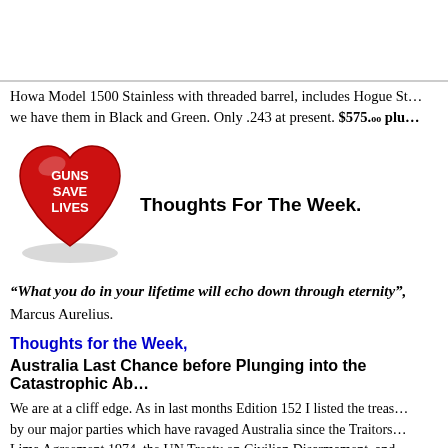Howa Model 1500 Stainless with threaded barrel, includes Hogue St... we have them in Black and Green. Only .243 at present. $575. oo plu...
[Figure (illustration): Red heart-shaped button/badge with white text reading GUNS SAVE LIVES]
Thoughts For The Week.
“What you do in your lifetime will echo down through eternity”, Marcus Aurelius.
Thoughts for the Week,
Australia Last Chance before Plunging into the Catastrophic Ab...
We are at a cliff edge. As in last months Edition 152 I listed the treas... by our major parties which have ravaged Australia since the Traitors... Lima Agreement 1974, the UN Treaty on Civilian Disarmament, and... the 1960s we were a free country that had the most potential to distri... who had worked to build it. Australia manufactured first class aircra... Bombers, ships, naval vessels, refrigerators, televisions, Jindevek M... tools, tractors, washing machines, we had an agricultural industry tha... first class at industries, tractors, and along our rail and aviation bl...